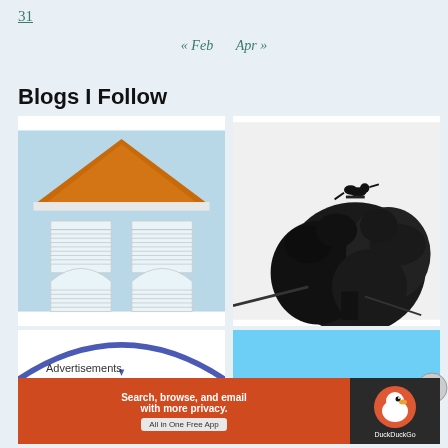31
« Feb   Apr »
Blogs I Follow
[Figure (illustration): Stylized illustration of a building/house with an orange triangular roof, two rectangular windows on the upper floor with shutters, and two arched doorways on the lower floor, on a light blue background.]
[Figure (photo): Black and white photograph of a bird perched atop a large tree with dense foliage against a white sky.]
[Figure (illustration): Partial view of a blue arc/semicircle shape on a white background (bottom of a blog card).]
[Figure (illustration): Light blue rectangle area at the bottom of the right blog card, with a circular X/close button overlay.]
Advertisements
[Figure (screenshot): DuckDuckGo advertisement banner: orange background on the left with text 'Search, browse, and email with more privacy. All in One Free App' and dark background on the right with DuckDuckGo duck logo and 'DuckDuckGo' text.]